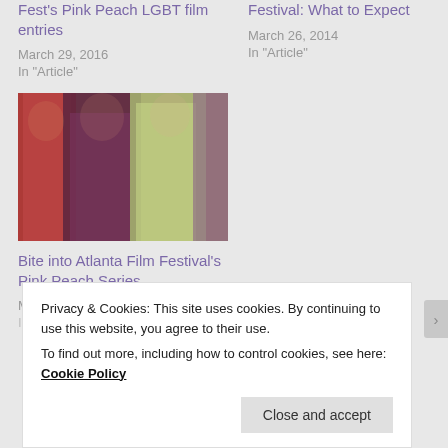Fest's Pink Peach LGBT film entries
March 29, 2016
In "Article"
Festival: What to Expect
March 26, 2014
In "Article"
[Figure (photo): Three people in glamorous attire posing together — one with red hair on left, one with dark curly hair in center, one with blonde hair in light green outfit on right, fourth person partially visible on far right.]
Bite into Atlanta Film Festival's Pink Peach Series
March 22, 2017
In "Article"
Privacy & Cookies: This site uses cookies. By continuing to use this website, you agree to their use.
To find out more, including how to control cookies, see here: Cookie Policy
Close and accept